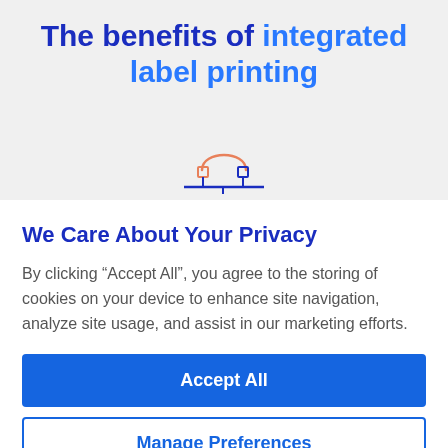The benefits of integrated label printing
[Figure (illustration): Network/connectivity icon showing two small squares connected by lines with a curved orange arc above them, in blue and orange colors]
We Care About Your Privacy
By clicking “Accept All”, you agree to the storing of cookies on your device to enhance site navigation, analyze site usage, and assist in our marketing efforts.
Accept All
Manage Preferences